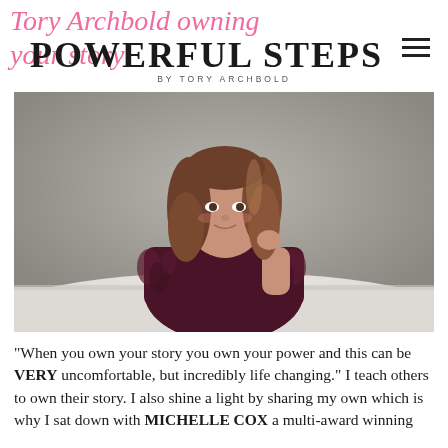Tory Archbold owning your story
POWERFUL STEPS
BY TORY ARCHBOLD
[Figure (photo): Professional photo of a woman with long brown hair wearing a dark burgundy fur-trimmed jacket, resting her chin on her hand at a white table, against a grey studio background.]
“When you own your story you own your power and this can be VERY uncomfortable, but incredibly life changing.” I teach others to own their story. I also shine a light by sharing my own which is why I sat down with MICHELLE COX a multi-award winning